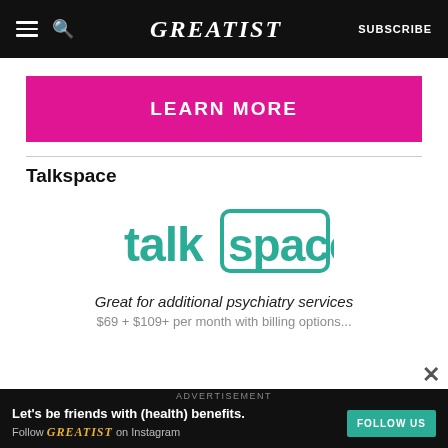GREATIST | SUBSCRIBE
[Figure (other): Pink LEARN MORE button]
Talkspace
[Figure (logo): Talkspace logo in teal/green color with box around 'space']
Great for additional psychiatry services
$69+ / $109+ per month with billing options (truncated)
[Figure (infographic): Advertisement banner: Let's be friends with (health) benefits. Follow GREATIST on Instagram. FOLLOW US button.]